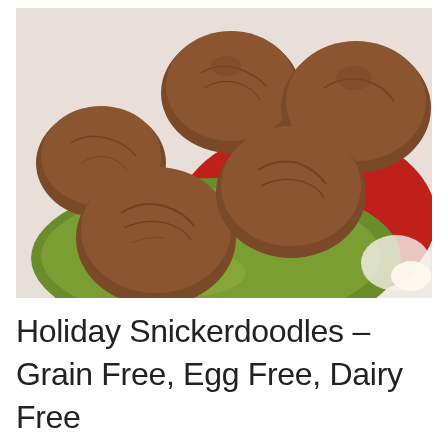[Figure (photo): A plate of round, cracked-top brown cookies (snickerdoodles) piled on a green and red plate, photographed from above at an angle on a white surface.]
Holiday Snickerdoodles – Grain Free, Egg Free, Dairy Free